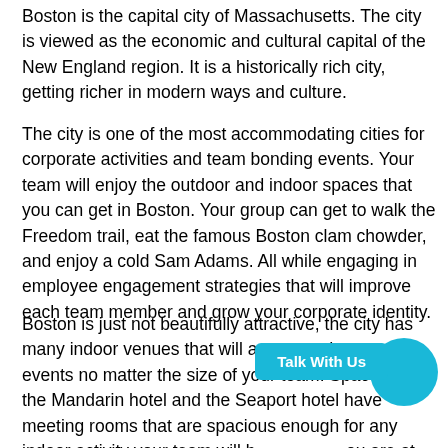Boston is the capital city of Massachusetts. The city is viewed as the economic and cultural capital of the New England region. It is a historically rich city, getting richer in modern ways and culture.
The city is one of the most accommodating cities for corporate activities and team bonding events. Your team will enjoy the outdoor and indoor spaces that you can get in Boston. Your group can get to walk the Freedom trail, eat the famous Boston clam chowder, and enjoy a cold Sam Adams. All while engaging in employee engagement strategies that will improve each team member and grow your corporate identity.
Boston is just not beautifully attractive, the city has many indoor venues that will accommodate your events no matter the size of your team. Spaces like the Mandarin hotel and the Seaport hotel have meeting rooms that are spacious enough for any indoor activity your team will be doing. If you are at loss as to the type of indoor activities that your group can engage in, Fulltilt has you covered with fun but employee skills improving